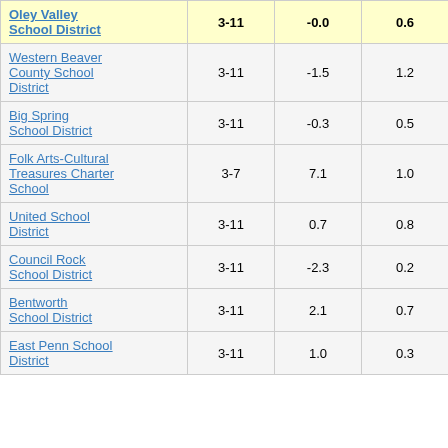| School/District | Grades | Col3 | Col4 | Score |
| --- | --- | --- | --- | --- |
| Oley Valley School District | 3-11 | -0.0 | 0.6 | -0.04 |
| Western Beaver County School District | 3-11 | -1.5 | 1.2 | -1.25 |
| Big Spring School District | 3-11 | -0.3 | 0.5 | -0.69 |
| Folk Arts-Cultural Treasures Charter School | 3-7 | 7.1 | 1.0 | 6.75 |
| United School District | 3-11 | 0.7 | 0.8 | 0.86 |
| Council Rock School District | 3-11 | -2.3 | 0.2 | -9.78 |
| Bentworth School District | 3-11 | 2.1 | 0.7 | 2.98 |
| East Penn School District | 3-11 | 1.0 | 0.3 | 3.50 |